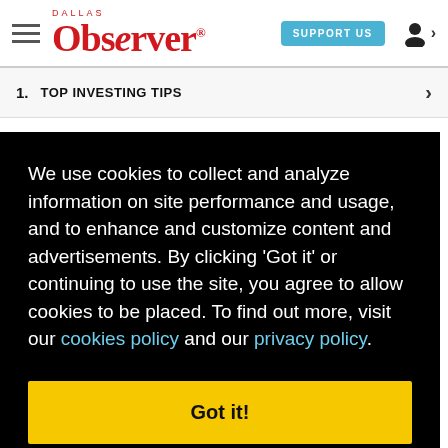Dallas Observer — SUPPORT US
1. TOP INVESTING TIPS
We use cookies to collect and analyze information on site performance and usage, and to enhance and customize content and advertisements. By clicking 'Got it' or continuing to use the site, you agree to allow cookies to be placed. To find out more, visit our cookies policy and our privacy policy.
Got it!
equel
Dallas Filmmaker Shane Carruth Makes Movies the